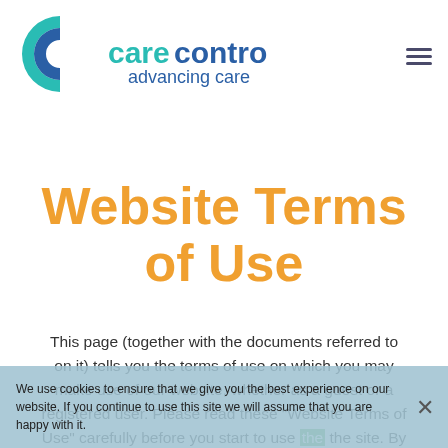[Figure (logo): Care Control logo with teal/green C icon and blue 'carecontrol advancing care' text]
Website Terms of Use
This page (together with the documents referred to on it) tells you the terms of use on which you may make use of our website, whether as a guest or a registered user. Please read these “Website Terms of Use” carefully before you start to use the site. By using our site, you indicate that you accept these terms of use
We use cookies to ensure that we give you the best experience on our website. If you continue to use this site we will assume that you are happy with it.